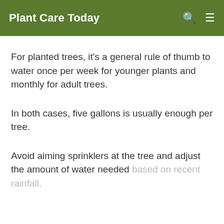Plant Care Today
For planted trees, it's a general rule of thumb to water once per week for younger plants and monthly for adult trees.
In both cases, five gallons is usually enough per tree.
Avoid aiming sprinklers at the tree and adjust the amount of water needed based on recent rainfall.